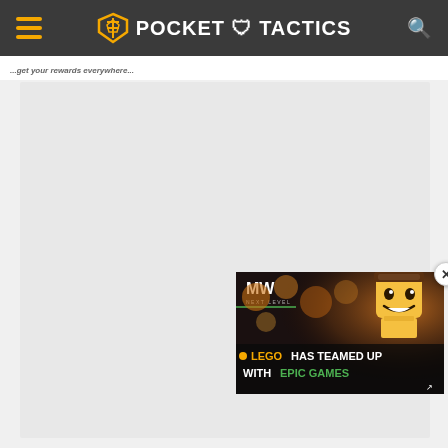POCKET TACTICS
...get your rewards everywhere...
[Figure (screenshot): Large grey content/article area placeholder on Pocket Tactics website]
[Figure (screenshot): Video overlay showing LEGO character with text 'LEGO HAS TEAMED UP WITH EPIC GAMES' with MW Next Level logo, with close button]